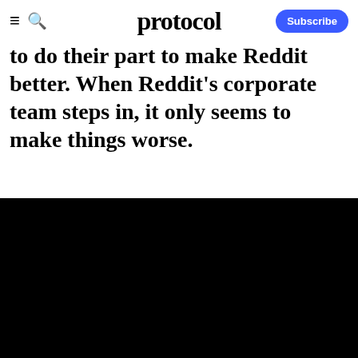protocol
to do their part to make Reddit better. When Reddit's corporate team steps in, it only seems to make things worse.
To give you the best possible experience, this site uses cookies. If you continue browsing. you accept our use of cookies. You can review our privacy policy to find out more about the cookies we use.
Accept